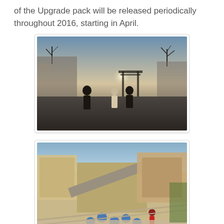of the Upgrade pack will be released periodically throughout 2016, starting in April.
[Figure (screenshot): Video game screenshot showing characters walking toward a torii gate in a Japanese-style environment with dramatic lighting and bare trees]
[Figure (screenshot): Video game screenshot showing an aerial/isometric view of a Mediterranean or Middle Eastern town with blue umbrellas on a beach and a character in red]
[Figure (screenshot): Video game screenshot partially visible at bottom, showing a harbor or dock scene with colorful elements]